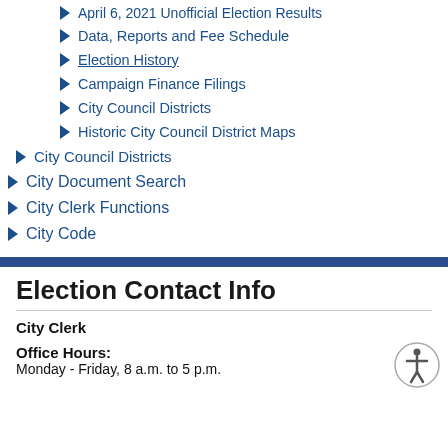April 6, 2021 Unofficial Election Results
Data, Reports and Fee Schedule
Election History
Campaign Finance Filings
City Council Districts
Historic City Council District Maps
City Council Districts
City Document Search
City Clerk Functions
City Code
Election Contact Info
City Clerk
Office Hours:
Monday - Friday, 8 a.m. to 5 p.m.